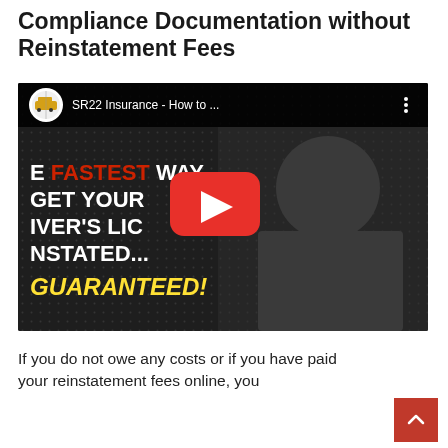Compliance Documentation without Reinstatement Fees
[Figure (screenshot): YouTube video thumbnail showing a man in a gray shirt with text overlay: 'THE FASTEST WAY TO GET YOUR DRIVER'S LICENSE REINSTATED... GUARANTEED!' with a YouTube play button in the center. The video title bar shows 'SR22 Insurance - How to ...' with an SR22 insurance logo.]
If you do not owe any costs or if you have paid your reinstatement fees online, you